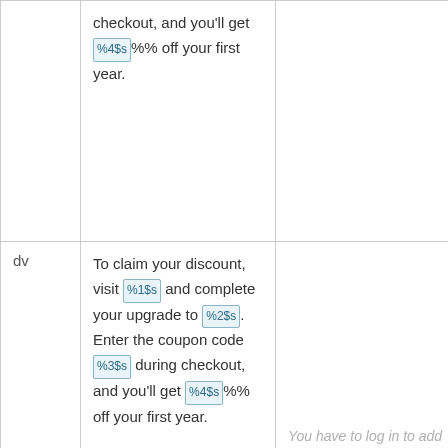|  | Source | Translation |  |
| --- | --- | --- | --- |
|  | checkout, and you'll get %4$s%% off your first year. |  |  |
| dv | To claim your discount, visit %1$s and complete your upgrade to %2$s. Enter the coupon code %3$s during checkout, and you'll get %4$s%% off your first year. | You have to log in to add a translation. | Details |
|  | To claim your discount, visit %1$s and complete your upgrade to | You have to log in to add a translation. |  |